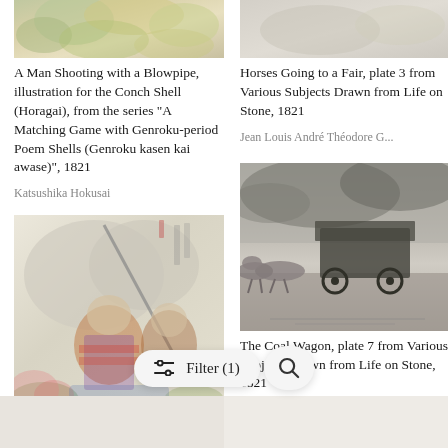[Figure (illustration): Top portion of a Japanese woodblock print showing colorful foliage, partially cropped]
A Man Shooting with a Blowpipe, illustration for the Conch Shell (Horagai), from the series “A Matching Game with Genroku-period Poem Shells (Genroku kasen kai awase)”, 1821
Katsushika Hokusai
[Figure (illustration): Partial image at top right, light colored with decorative elements, cropped]
Horses Going to a Fair, plate 3 from Various Subjects Drawn from Life on Stone, 1821
Jean Louis André Théodore G...
[Figure (illustration): Japanese woodblock print showing armored samurai warriors in combat, colorful]
[Figure (illustration): Lithograph showing a coal wagon pulled by horses on a dark, moody landscape]
The Coal Wagon, plate 7 from Various Subjects Drawn from Life on Stone, 1821
Jean Louis André Théodore G...